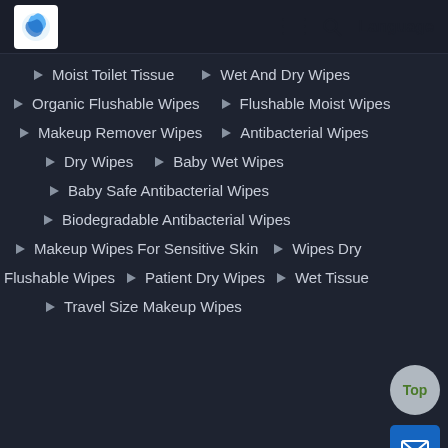Logo | Navigation icons | Language
Moist Toilet Tissue
Wet And Dry Wipes
Organic Flushable Wipes
Flushable Moist Wipes
Makeup Remover Wipes
Antibacterial Wipes
Dry Wipes
Baby Wet Wipes
Baby Safe Antibacterial Wipes
Biodegradable Antibacterial Wipes
Makeup Wipes For Sensitive Skin
Wipes Dry
Flushable Wipes
Patient Dry Wipes
Wet Tissue
Travel Size Makeup Wipes